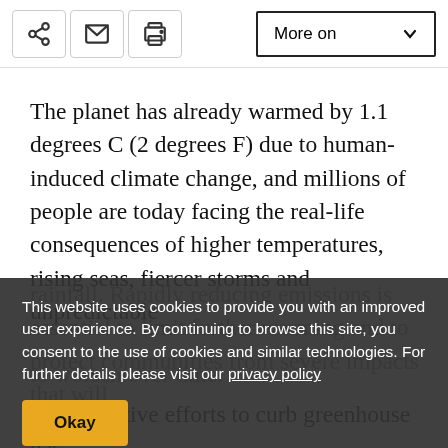More on [toolbar with share, email, print icons and More on button]
The planet has already warmed by 1.1 degrees C (2 degrees F) due to human-induced climate change, and millions of people are today facing the real-life consequences of higher temperatures, rising seas, fiercer storms and unpredictable rainfall. Rapidly reducing emissions is essential to limit further warming and to protect communities from severe impacts that will continue to worsen over time.
This website uses cookies to provide you with an improved user experience. By continuing to browse this site, you consent to the use of cookies and similar technologies. For further details please visit our privacy policy
Yet collective efforts to curb greenhouse gas